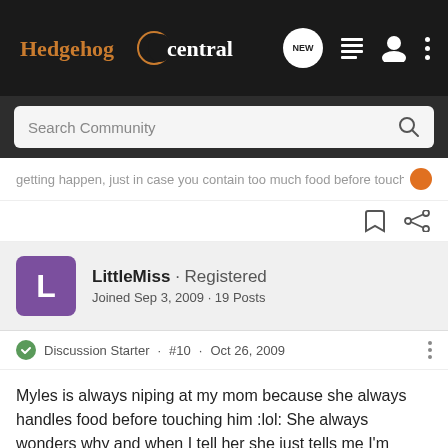Hedgehog Central
Search Community
getting happen, just in case you contain too much food before touching
LittleMiss · Registered
Joined Sep 3, 2009 · 19 Posts
Discussion Starter · #10 · Oct 26, 2009
Myles is always niping at my mom because she always handles food before touching him :lol: She always wonders why and when I tell her she just tells me I'm wrong. (She's not very bright some times)